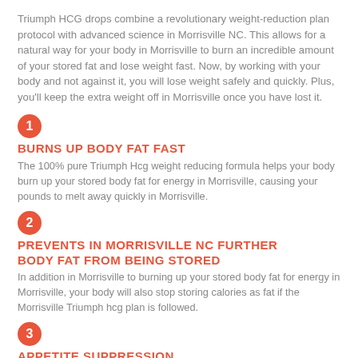Triumph HCG drops combine a revolutionary weight-reduction plan protocol with advanced science in Morrisville NC. This allows for a natural way for your body in Morrisville to burn an incredible amount of your stored fat and lose weight fast. Now, by working with your body and not against it, you will lose weight safely and quickly. Plus, you'll keep the extra weight off in Morrisville once you have lost it.
1 BURNS UP BODY FAT FAST
The 100% pure Triumph Hcg weight reducing formula helps your body burn up your stored body fat for energy in Morrisville, causing your pounds to melt away quickly in Morrisville.
2 PREVENTS IN MORRISVILLE NC FURTHER BODY FAT FROM BEING STORED
In addition in Morrisville to burning up your stored body fat for energy in Morrisville, your body will also stop storing calories as fat if the Morrisville Triumph hcg plan is followed.
3 APPETITE SUPPRESSION